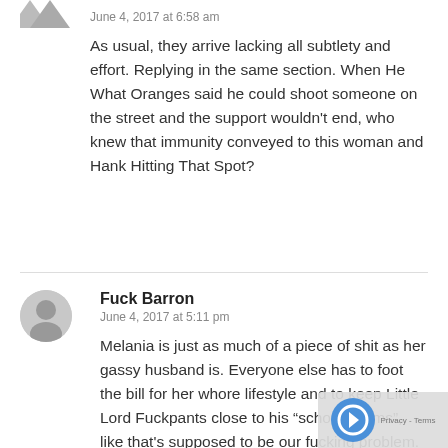June 4, 2017 at 6:58 am
As usual, they arrive lacking all subtlety and effort. Replying in the same section. When He What Oranges said he could shoot someone on the street and the support wouldn't end, who knew that immunity conveyed to this woman and Hank Hitting That Spot?
Fuck Barron
June 4, 2017 at 5:11 pm
Melania is just as much of a piece of shit as her gassy husband is. Everyone else has to foot the bill for her whore lifestyle and to keep Little Lord Fuckpants close to his “school chums”, like that's supposed to be our fucking problem. What kind of woman doesn't move into the WH when her